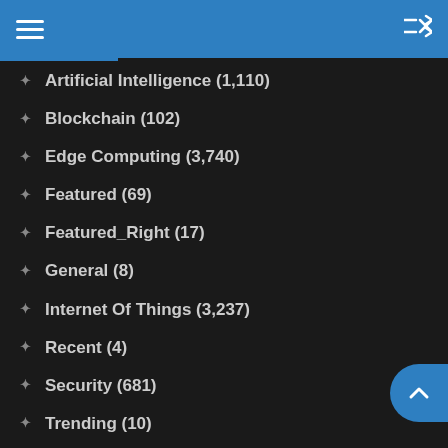Artificial Intelligence (1,110)
Blockchain (102)
Edge Computing (3,740)
Featured (69)
Featured_Right (17)
General (8)
Internet Of Things (3,237)
Recent (4)
Security (681)
Trending (10)